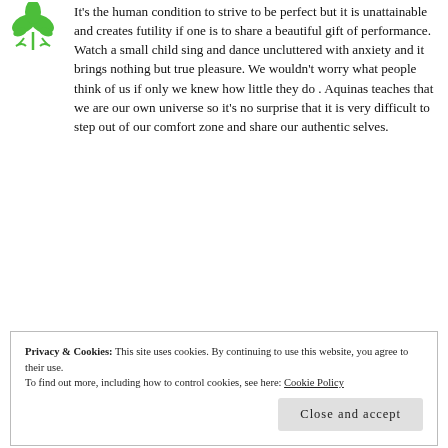[Figure (logo): Green leaf/plant logo icon in top-left corner]
It's the human condition to strive to be perfect but it is unattainable and creates futility if one is to share a beautiful gift of performance. Watch a small child sing and dance uncluttered with anxiety and it brings nothing but true pleasure. We wouldn't worry what people think of us if only we knew how little they do . Aquinas teaches that we are our own universe so it's no surprise that it is very difficult to step out of our comfort zone and share our authentic selves.
Privacy & Cookies: This site uses cookies. By continuing to use this website, you agree to their use. To find out more, including how to control cookies, see here: Cookie Policy
Close and accept